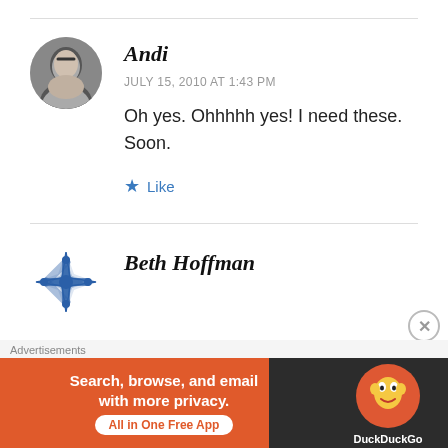[Figure (photo): Black and white circular avatar photo of a woman named Andi]
Andi
JULY 15, 2010 AT 1:43 PM
Oh yes. Ohhhhh yes! I need these. Soon.
Like
[Figure (logo): Blue geometric snowflake/star pattern avatar for Beth Hoffman]
Beth Hoffman
Advertisements
[Figure (screenshot): DuckDuckGo advertisement banner: Search, browse, and email with more privacy. All in One Free App]